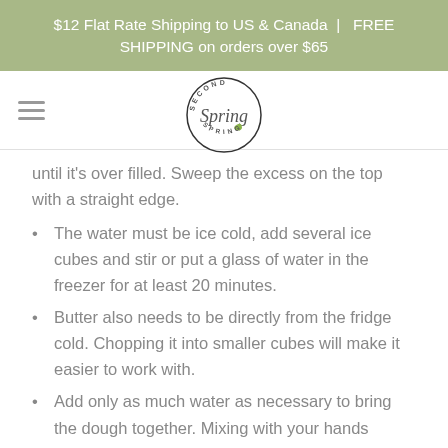$12 Flat Rate Shipping to US & Canada  |   FREE SHIPPING on orders over $65
[Figure (logo): Second Spring logo: circular text reading 'SECOND SPRING' around stylized script word 'Spring' with a small green leaf, outlined in dark circle]
until it's over filled. Sweep the excess on the top with a straight edge.
The water must be ice cold, add several ice cubes and stir or put a glass of water in the freezer for at least 20 minutes.
Butter also needs to be directly from the fridge cold. Chopping it into smaller cubes will make it easier to work with.
Add only as much water as necessary to bring the dough together. Mixing with your hands makes it easier to tell when the dough is ready.